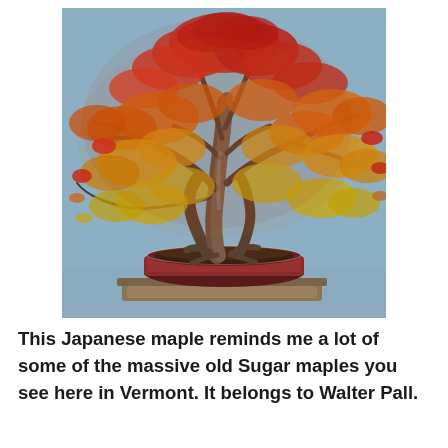[Figure (photo): A Japanese maple bonsai tree in a shallow reddish-brown ceramic pot placed on a wooden stand. The tree has autumn foliage with red, orange, and yellow leaves. The background is a muted blue-grey wall.]
This Japanese maple reminds me a lot of some of the massive old Sugar maples you see here in Vermont. It belongs to Walter Pall.